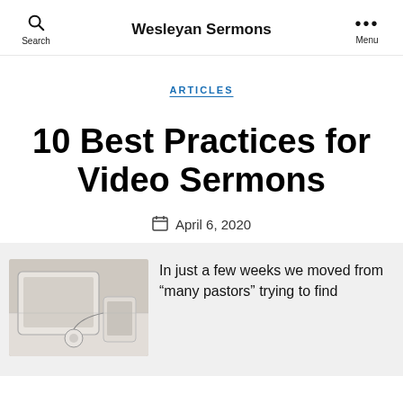Search  Wesleyan Sermons  Menu
ARTICLES
10 Best Practices for Video Sermons
April 6, 2020
[Figure (photo): A tablet or smartphone with earphones/headphones on a light surface, representing video/audio sermons]
In just a few weeks we moved from “many pastors” trying to find